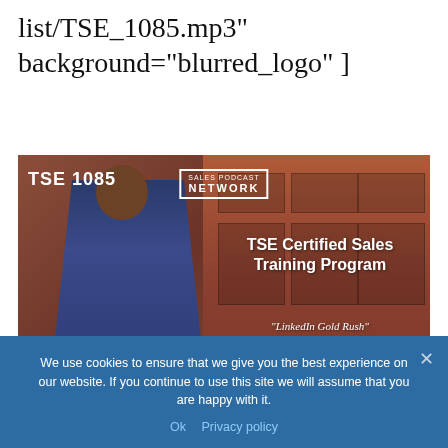list/TSE_1085.mp3" background="blurred_logo" ]
[Figure (screenshot): TSE 1085 podcast thumbnail image showing a man in a blue suit standing in front of a red/brown door. Text overlay: 'TSE 1085', 'SALES PODCAST NETWORK', 'TSE Certified Sales Training Program', '"LinkedIn Gold Rush"', 'Donald Kelly', 'This episode is sponsored by', 'MAILTAG']
We use cookies to ensure that we give you the best experience on our website. If you continue to use this site we will assume that you are happy with it.
Ok  Privacy policy